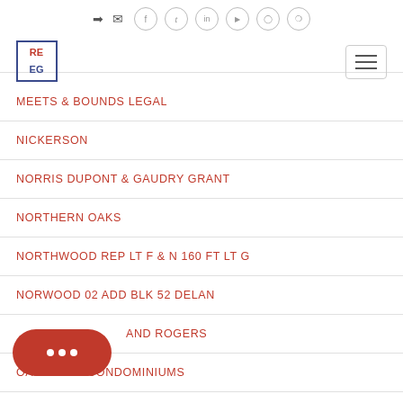RE EG logo with social icons and hamburger menu
MEETS & BOUNDS LEGAL
NICKERSON
NORRIS DUPONT & GAUDRY GRANT
NORTHERN OAKS
NORTHWOOD REP LT F & N 160 FT LT G
NORWOOD 02 ADD BLK 52 DELAN
NORWOOD AND ROGERS
OAK RIDGE CONDOMINIUMS